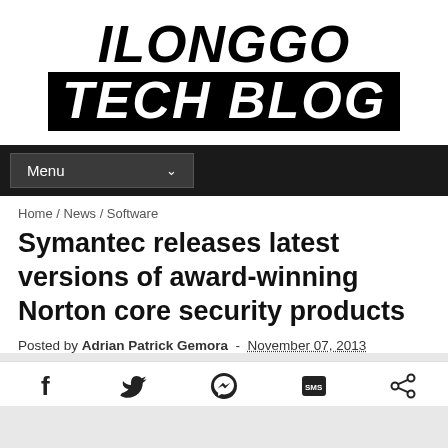[Figure (logo): Ilonggo Tech Blog logo — 'ILONGGO' in large black italic bold text above 'TECH BLOG' in large white italic bold text on a black background banner]
Menu
Home / News / Software
Symantec releases latest versions of award-winning Norton core security products
Posted by Adrian Patrick Gemora - November 07, 2013
[Figure (infographic): Social share icons row: Facebook (f), Twitter (bird), Messenger (lightning bolt in circle), SMS (SMS in rounded square), Share (share symbol)]